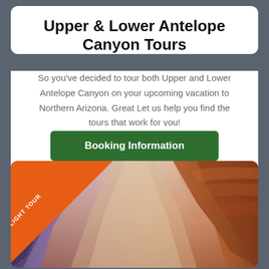Upper & Lower Antelope Canyon Tours
So you've decided to tour both Upper and Lower Antelope Canyon on your upcoming vacation to Northern Arizona. Great Let us help you find the tours that work for you!
Booking Information
[Figure (photo): Photo of Antelope Canyon showing narrow slot canyon walls with orange and purple layered sandstone rock formations, with a 'SPOTLIGHT TOUR' orange ribbon banner in the top-left corner.]